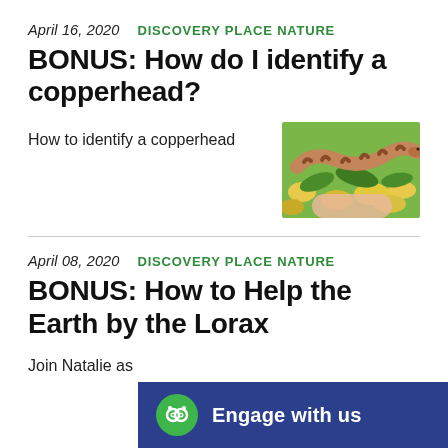April 16, 2020   DISCOVERY PLACE NATURE
BONUS: How do I identify a copperhead?
How to identify a copperhead
[Figure (photo): Close-up photo of a copperhead snake among yellow flowers]
April 08, 2020   DISCOVERY PLACE NATURE
BONUS: How to Help the Earth by the Lorax
Join Natalie as
Engage with us